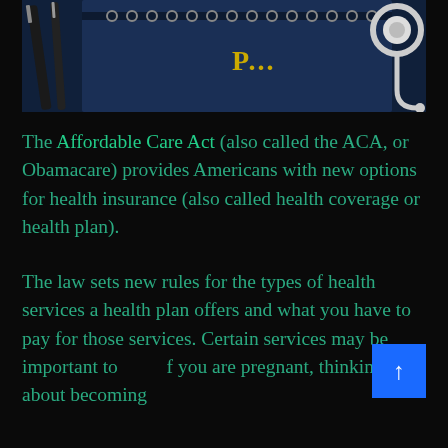[Figure (photo): Photo of a dark navy notebook with spiral binding, two pens, and a stethoscope, suggesting health insurance or medical documentation context. Partial yellow text visible on notebook cover.]
The Affordable Care Act (also called the ACA, or Obamacare) provides Americans with new options for health insurance (also called health coverage or health plan).
The law sets new rules for the types of health services a health plan offers and what you have to pay for those services. Certain services may be important to f you are pregnant, thinking about becoming [continues]